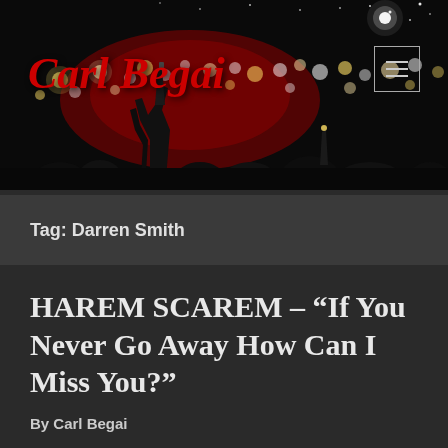[Figure (photo): Dark night concert scene with crowd holding up phone lights and lighters against a black starry sky. Silhouettes of crowd members visible. Red glow background behind logo text.]
Carl Begai
Tag: Darren Smith
HAREM SCAREM – “If You Never Go Away How Can I Miss You?”
By Carl Begai